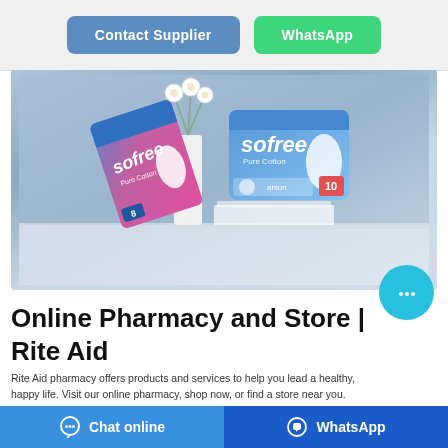[Figure (illustration): Two buttons: blue 'Contact Supplier' and green 'WhatsApp' on a gray background header]
[Figure (photo): Product photo showing two packages of 'sofree Pure Cotton' sanitary pads on a light surface with white flowers in background, against a blue-gray background]
Online Pharmacy and Store | Rite Aid
Rite Aid pharmacy offers products and services to help you lead a healthy, happy life. Visit our online pharmacy, shop now, or find a store near you.
[Figure (illustration): Bottom navigation bar with 'Chat online' button (blue) and 'WhatsApp' button (dark blue) with respective icons]